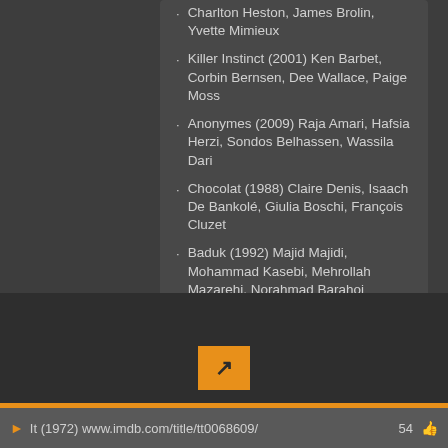Charlton Heston, James Brolin, Yvette Mimieux
Killer Instinct (2001) Ken Barbet, Corbin Bernsen, Dee Wallace, Paige Moss
Anonymes (2009) Raja Amari, Hafsia Herzi, Sondos Belhassen, Wassila Dari
Chocolat (1988) Claire Denis, Isaach De Bankolé, Giulia Boschi, François Cluzet
Baduk (1992) Majid Majidi, Mohammad Kasebi, Mehrollah Mazarehi, Norahmad Barahoi
The Outsider (1961) Delbert Mann, Tony Curtis, James Franciscus, Gregory Walcott
It (1972) www.imdb.com/title/tt0068609/  54